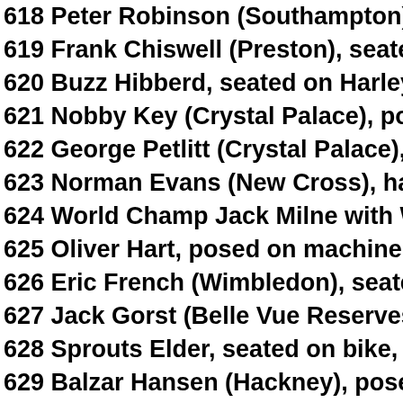618 Peter Robinson (Southampton), posed sea...
619 Frank Chiswell (Preston), seated on machin...
620 Buzz Hibberd, seated on Harley Peashooter...
621 Nobby Key (Crystal Palace), posed on mach...
622 George Petlitt (Crystal Palace), seated on b...
623 Norman Evans (New Cross), halfshot + prin...
624 World Champ Jack Milne with Wilbur Lamo...
625 Oliver Hart, posed on machine, with printed...
626 Eric French (Wimbledon), seated with printe...
627 Jack Gorst (Belle Vue Reserves), with facsi...
628 Sprouts Elder, seated on bike, with facsimil...
629 Balzar Hansen (Hackney), posed in Margate...